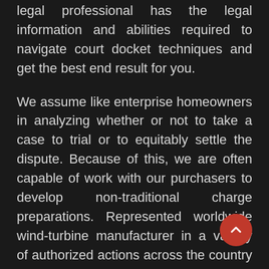legal professional has the legal information and abilities required to navigate court docket techniques and get the best end result for you.
We assume like enterprise homeowners in analyzing whether or not to take a case to trial or to equitably settle the dispute. Because of this, we are often capable of work with our purchasers to develop non-traditional charge preparations. Represented worldwide wind-turbine manufacturer in a variety of authorized actions across the country from protection of a personal damage suit arising from a employee's